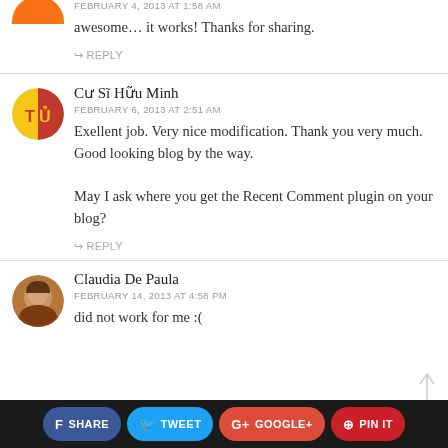FEBRUARY 4, 2013 AT 1:58 AM
awesome… it works! Thanks for sharing.
↪ REPLY
Cư Sĩ Hữu Minh
FEBRUARY 6, 2013 AT 2:51 AM
Exellent job. Very nice modification. Thank you very much. Good looking blog by the way.

May I ask where you get the Recent Comment plugin on your blog?
↪ REPLY
Claudia De Paula
FEBRUARY 14, 2013 AT 4:58 PM
did not work for me :(
f SHARE   TWEET   g+ GOOGLE+   PIN IT